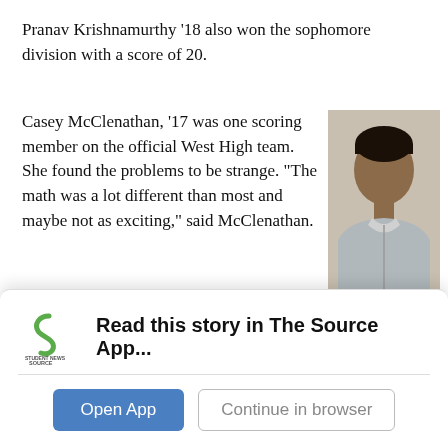Pranav Krishnamurthy ’18 also won the sophomore division with a score of 20.
Casey McClenathan, ’17 was one scoring member on the official West High team. She found the problems to be strange. “The math was a lot different than most and maybe not as exciting,” said McClenathan.
[Figure (photo): Photo of Pranav Krishnamurthy, a teenage boy wearing a grey zip-up sweater, standing against a light-colored wall.]
Sophomore Champion Pranav Krishnamurthy’18
[Figure (screenshot): App banner from Student News Source app with logo, text 'Read this story in The Source App...', and two buttons: 'Open App' and 'Continue in browser'.]